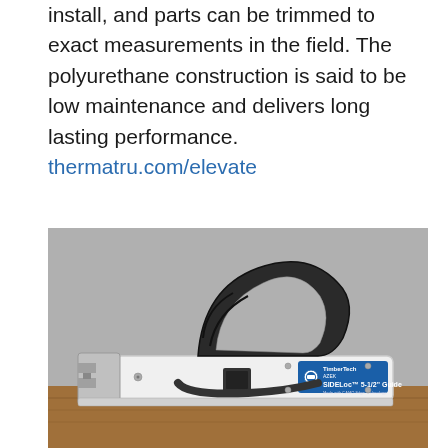install, and parts can be trimmed to exact measurements in the field. The polyurethane construction is said to be low maintenance and delivers long lasting performance. thermatru.com/elevate
[Figure (photo): Photo of a TimberTech AZEK SIDELoc 5-1/2" Guide tool made with CAMO Edge Technology. The tool has a white body with a black ergonomic handle, sits on wooden deck boards against a grey background.]